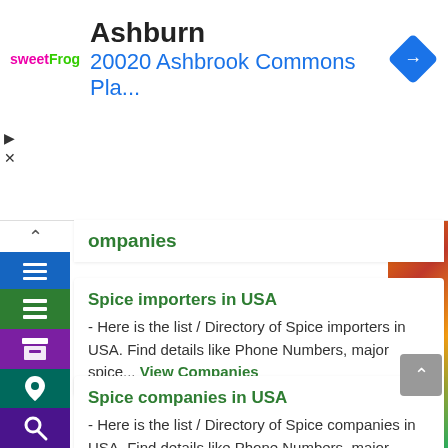[Figure (screenshot): Sweet Frog logo with pink and green text]
Ashburn
20020 Ashbrook Commons Pla...
Companies
Spice importers in USA - Here is the list / Directory of Spice importers in USA. Find details like Phone Numbers, major spice... View Companies
Spice companies in USA - Here is the list / Directory of Spice companies in USA. Find details like Phone Numbers, major spice... View Companies